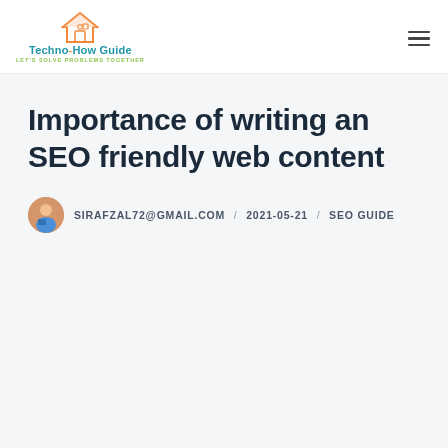Techno-How Guide — Let's Solve Problems Together
Importance of writing an SEO friendly web content
SIRAFZAL72@GMAIL.COM / 2021-05-21 / SEO GUIDE